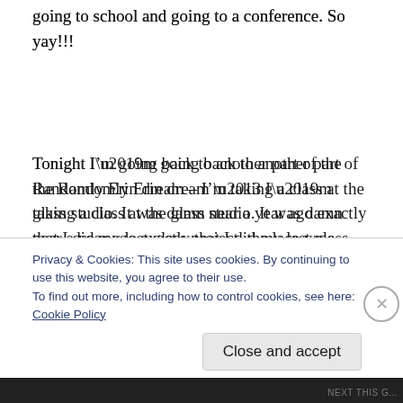going to school and going to a conference. So yay!!!
Tonight I’m going back to another part of the Randomly Erin dream – I’m taking a class at the glass studio. It was damn near a year ago exactly that I did my last glass project, the lace vase.
Privacy & Cookies: This site uses cookies. By continuing to use this website, you agree to their use.
To find out more, including how to control cookies, see here:
Cookie Policy
Close and accept